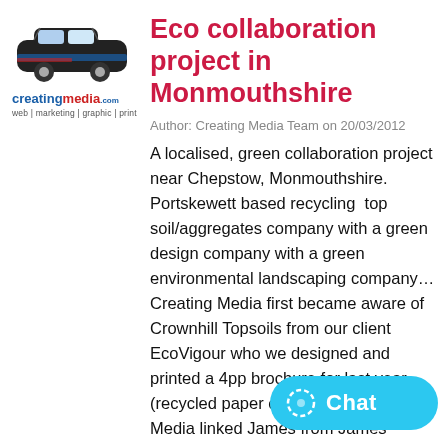[Figure (logo): Creating Media logo with branded mini car illustration and tagline: web | marketing | graphic | print]
Eco collaboration project in Monmouthshire
Author: Creating Media Team on 20/03/2012
A localised, green collaboration project near Chepstow, Monmouthshire.   Portskewett based recycling  top soil/aggregates company with a green design company with a green environmental landscaping company… Creating Media first became aware of Crownhill Topsoils from our client EcoVigour who we designed and printed a 4pp brochure for last year (recycled paper of course!). Creating Media linked James from James Davies Landcare with ecovigour last year and they already work on some projects together. Crow... successful company with clie... Chepstow, Newport, Monmouth, and